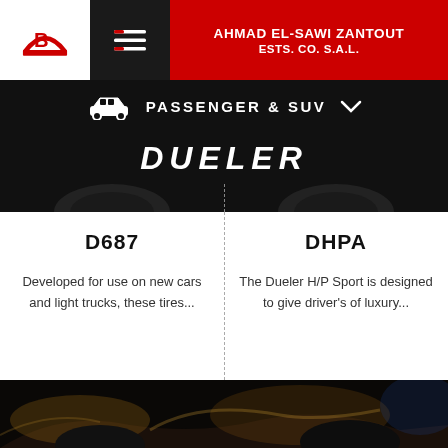[Figure (logo): Bridgestone logo (red B with bridge shape) in white box on left of header]
AHMAD EL-SAWI ZANTOUT
ESTS. CO. S.A.L.
PASSENGER & SUV
DUELER
D687
Developed for use on new cars and light trucks, these tires...
DHPA
The Dueler H/P Sport is designed to give driver's of luxury...
[Figure (photo): Dark luxury car with golden light reflections, bottom portion of page]
ALENZA